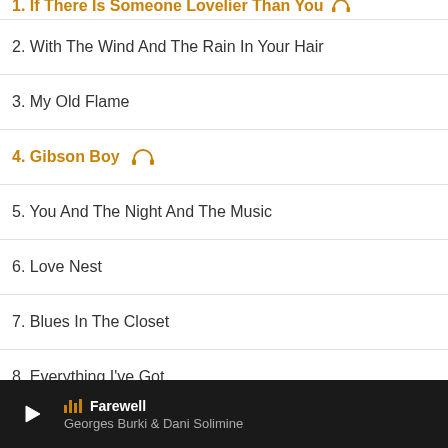1. If There Is Someone Lovelier Than You (partial, top)
2. With The Wind And The Rain In Your Hair
3. My Old Flame
4. Gibson Boy (highlighted, headphone icon)
5. You And The Night And The Music
6. Love Nest
7. Blues In The Closet
8. Everything I've Got
9. These Foolish Things
10. I Remember You (highlighted, headphone icon)
11. How Deep Is The Ocean
Farewell — Georges Burki & Dani Solimine (player bar)